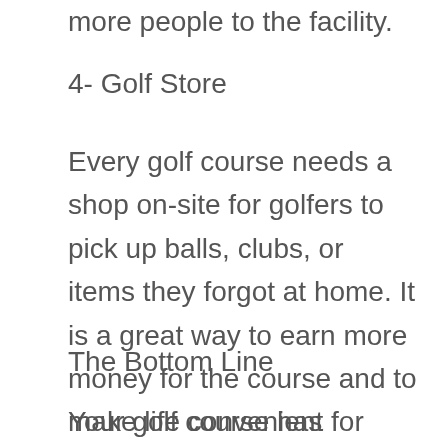more people to the facility.
4- Golf Store
Every golf course needs a shop on-site for golfers to pick up balls, clubs, or items they forgot at home. It is a great way to earn more money for the course and to make life convenient for those who patronize the business.
The Bottom Line
Your golf course has potential to be great